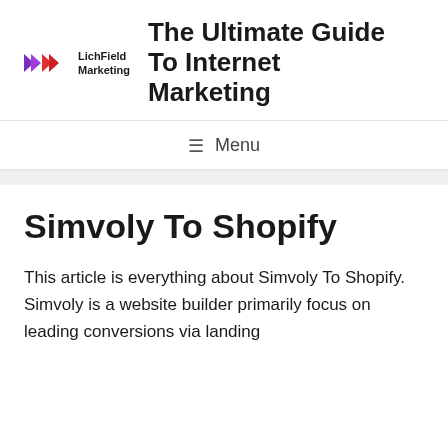[Figure (logo): LichField Marketing logo with purple and red chevron arrows and bold text]
The Ultimate Guide To Internet Marketing
☰  Menu
Simvoly To Shopify
This article is everything about Simvoly To Shopify. Simvoly is a website builder primarily focus on leading conversions via landing